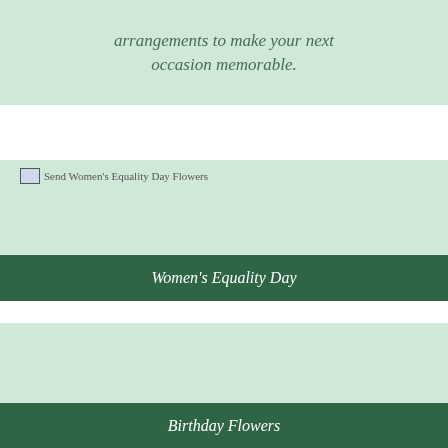arrangements to make your next occasion memorable.
[Figure (photo): Placeholder image for Send Women's Equality Day Flowers]
Women's Equality Day
[Figure (photo): Image area for Birthday Flowers]
Birthday Flowers